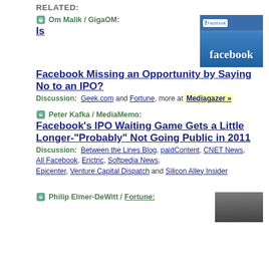RELATED:
Om Malik / GigaOM: Is
[Figure (photo): Facebook logo/website screenshot showing blue Facebook interface with 'facebook' text]
Facebook Missing an Opportunity by Saying No to an IPO?
Discussion: Geek.com and Fortune, more at Mediagazer »
Peter Kafka / MediaMemo: Facebook's IPO Waiting Game Gets a Little Longer-"Probably" Not Going Public in 2011
Discussion: Between the Lines Blog, paidContent, CNET News, All Facebook, Erictric, Softpedia News, Epicenter, Venture Capital Dispatch and Silicon Alley Insider
Philip Elmer-DeWitt / Fortune:
[Figure (photo): Person at podium or event photo (partially visible)]